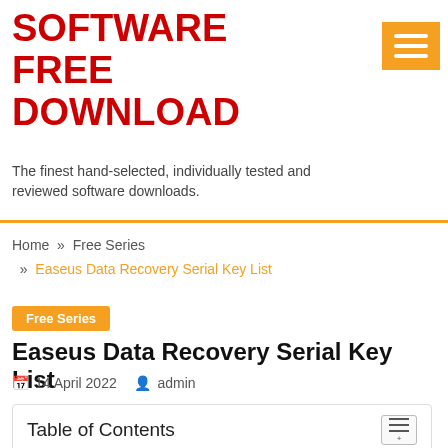SOFTWARE FREE DOWNLOAD
The finest hand-selected, individually tested and reviewed software downloads.
Home » Free Series » Easeus Data Recovery Serial Key List
Free Series
Easeus Data Recovery Serial Key List
14 April 2022  admin
Table of Contents
1. Easeus data recovery 11.8 license code | taitfiservie1983.